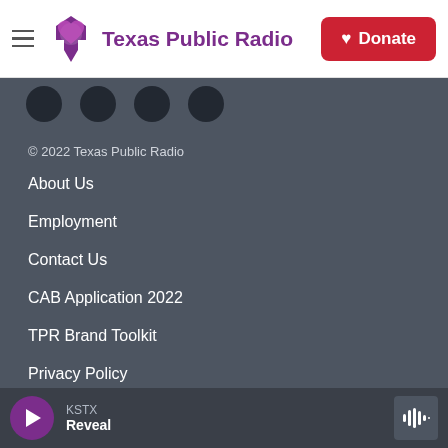Texas Public Radio — Donate
[Figure (screenshot): Four dark circular social media icon buttons on a grey background strip]
© 2022 Texas Public Radio
About Us
Employment
Contact Us
CAB Application 2022
TPR Brand Toolkit
Privacy Policy
Financial Reports
KSTX — Reveal